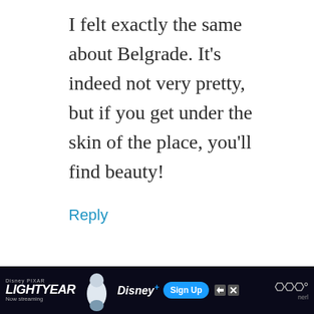I felt exactly the same about Belgrade. It's indeed not very pretty, but if you get under the skin of the place, you'll find beauty!
Reply
Maggie Turansky
June 26, 2017 at 9:17 pm
[Figure (other): Disney Pixar Lightyear advertisement banner with Buzz Lightyear, Disney+ logo, Sign Up button, and 'Now streaming' text]